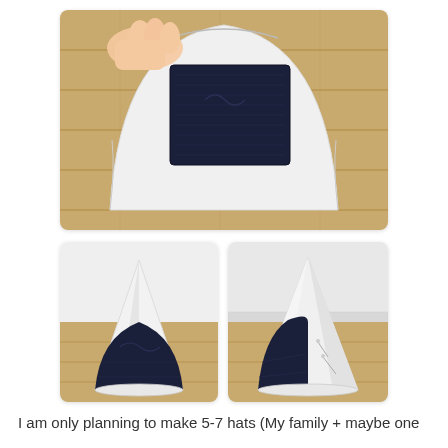[Figure (photo): Top photo showing a hand holding a white paper/foam cone hat template flat, with a dark navy blue fabric/felt piece placed on top of it. The items rest on a wooden floor surface.]
[Figure (photo): Bottom-left photo showing a completed white cone-shaped party hat with dark navy blue fabric wrapped around the lower portion, standing upright on a wooden floor.]
[Figure (photo): Bottom-right photo showing a side/back view of the same white cone-shaped party hat with dark navy blue fabric visible, standing upright on a wooden floor.]
I am only planning to make 5-7 hats (My family + maybe one